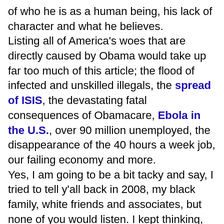of who he is as a human being, his lack of character and what he believes. Listing all of America's woes that are directly caused by Obama would take up far too much of this article; the flood of infected and unskilled illegals, the spread of ISIS, the devastating fatal consequences of Obamacare, Ebola in the U.S., over 90 million unemployed, the disappearance of the 40 hours a week job, our failing economy and more. Yes, I am going to be a bit tacky and say, I tried to tell y'all back in 2008, my black family, white friends and associates, but none of you would listen. I kept thinking, am I the one who is crazy? Will anyone even consider looking beyond his race and taking a good look at Obama, the man? Instead, you verbally beat me up and called